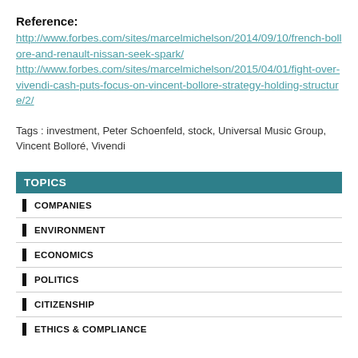Reference:
http://www.forbes.com/sites/marcelmichelson/2014/09/10/french-bollore-and-renault-nissan-seek-spark/ http://www.forbes.com/sites/marcelmichelson/2015/04/01/fight-over-vivendi-cash-puts-focus-on-vincent-bollore-strategy-holding-structure/2/
Tags : investment, Peter Schoenfeld, stock, Universal Music Group, Vincent Bolloré, Vivendi
TOPICS
COMPANIES
ENVIRONMENT
ECONOMICS
POLITICS
CITIZENSHIP
ETHICS & COMPLIANCE